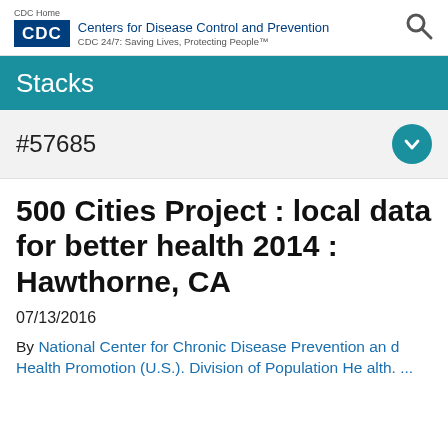CDC Home | Centers for Disease Control and Prevention | CDC 24/7: Saving Lives, Protecting People™
Stacks
#57685
500 Cities Project : local data for better health 2014 : Hawthorne, CA
07/13/2016
By National Center for Chronic Disease Prevention and Health Promotion (U.S.). Division of Population Health. ...